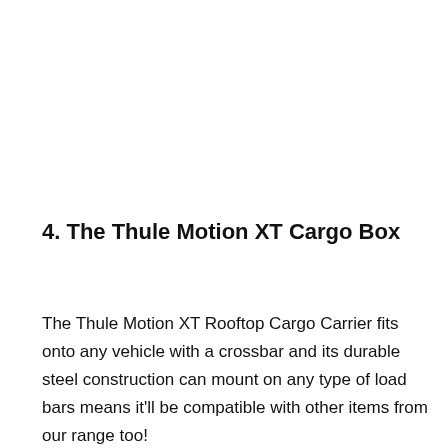4. The Thule Motion XT Cargo Box
The Thule Motion XT Rooftop Cargo Carrier fits onto any vehicle with a crossbar and its durable steel construction can mount on any type of load bars means it'll be compatible with other items from our range too!